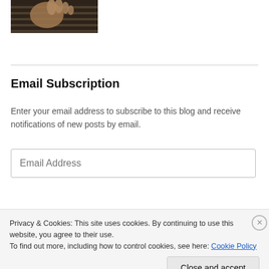[Figure (photo): A partial photo showing a person's hand over a striped fabric, dark/warm tones.]
Email Subscription
Enter your email address to subscribe to this blog and receive notifications of new posts by email.
Email Address (input field placeholder)
i want some vegina (button label)
Privacy & Cookies: This site uses cookies. By continuing to use this website, you agree to their use.
To find out more, including how to control cookies, see here: Cookie Policy
Close and accept